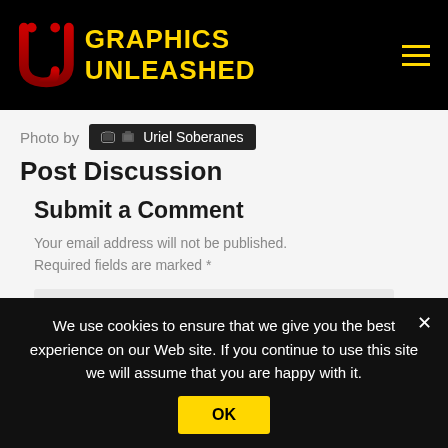GRAPHICS UNLEASHED
Photo by Uriel Soberanes
Post Discussion
Submit a Comment
Your email address will not be published.
Required fields are marked *
Comment *
We use cookies to ensure that we give you the best experience on our Web site. If you continue to use this site we will assume that you are happy with it.